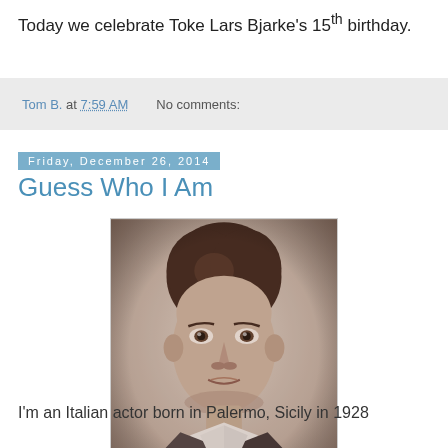Today we celebrate Toke Lars Bjarke's 15th birthday.
Tom B. at 7:59 AM   No comments:
Friday, December 26, 2014
Guess Who I Am
[Figure (photo): Black and white portrait photo of a young man in a suit, looking directly at the camera. The photo has a slightly faded, vintage appearance.]
I'm an Italian actor born in Palermo, Sicily in 1928